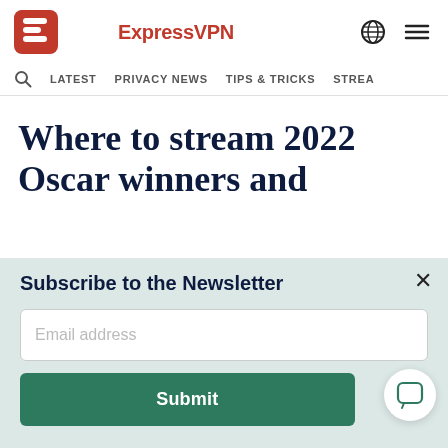ExpressVPN
LATEST   PRIVACY NEWS   TIPS & TRICKS   STREA
Where to stream 2022 Oscar winners and
Subscribe to the Newsletter
Email address
Submit